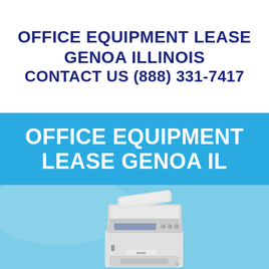OFFICE EQUIPMENT LEASE GENOA ILLINOIS
CONTACT US (888) 331-7417
OFFICE EQUIPMENT LEASE GENOA IL
[Figure (photo): A Brother brand multifunction laser printer/copier on a light blue background]